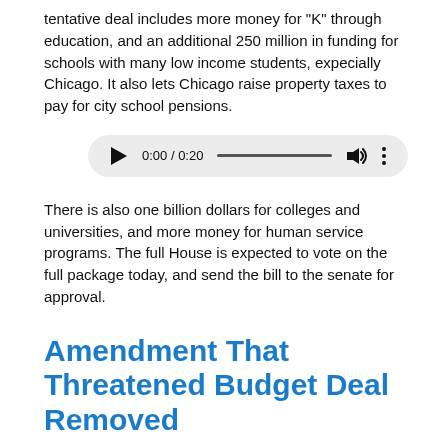tentative deal includes more money for "K" through education, and an additional 250 million in funding for schools with many low income students, expecially Chicago. It also lets Chicago raise property taxes to pay for city school pensions.
[Figure (other): Audio player widget showing 0:00 / 0:20 with play button, progress bar, volume and more icons]
There is also one billion dollars for colleges and universities, and more money for human service programs. The full House is expected to vote on the full package today, and send the bill to the senate for approval.
Amendment That Threatened Budget Deal Removed
Posted About Six Years Ago
The Illinois House gathered to vote on the stopgap budget deal but there was a last minute speed bump, in the form of a last minute